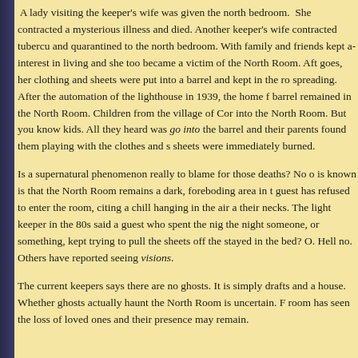A lady visiting the keeper's wife was given the north bedroom. She contracted a mysterious illness and died. Another keeper's wife contracted tuberculosis and quarantined to the north bedroom. With family and friends kept away, she lost interest in living and she too became a victim of the North Room. After she died, as the story goes, her clothing and sheets were put into a barrel and kept in the room to prevent the disease from spreading. After the automation of the lighthouse in 1939, the home fell silent and the barrel remained in the North Room. Children from the village of Cornwall were warned not to go into the North Room. But you know kids. All they heard was go into the North Room. They found the barrel and their parents found them playing with the clothes and sheets. The clothes and sheets were immediately burned.
Is a supernatural phenomenon really to blame for those deaths? No one knows. What is known is that the North Room remains a dark, foreboding area in the home. More than one guest has refused to enter the room, citing a chill hanging in the air and hairs standing up on their necks. The light keeper in the 80s said a guest who spent the night reported that during the night someone, or something, kept trying to pull the sheets off the bed. Did the guest stayed in the bed? O. Hell no. Others have reported seeing visions.
The current keepers says there are no ghosts. It is simply drafts and air moving through the house. Whether ghosts actually haunt the North Room is uncertain. Perhaps the North Room has seen the loss of loved ones and their presence may remain.